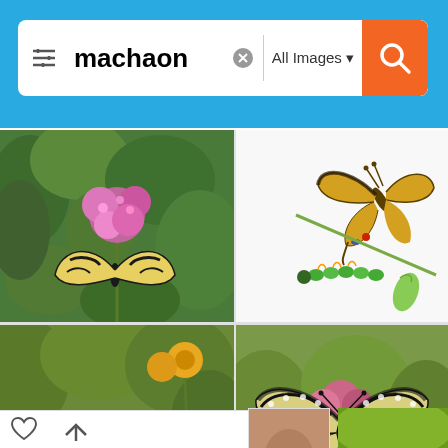[Figure (screenshot): Mobile image search screenshot showing search bar with query 'machaon' and image results grid of swallowtail butterfly (Papilio machaon) photos]
machaon
All Images
[Figure (photo): Swallowtail butterfly on pink flower cluster with green foliage background]
[Figure (illustration): Illustration of swallowtail butterfly adult on stem, caterpillar and chrysalis below on white background]
[Figure (photo): Swallowtail butterfly on yellow zinnia flowers with green leafy background]
[Figure (photo): Swallowtail butterfly with wings spread on pink clover flowers with green meadow background]